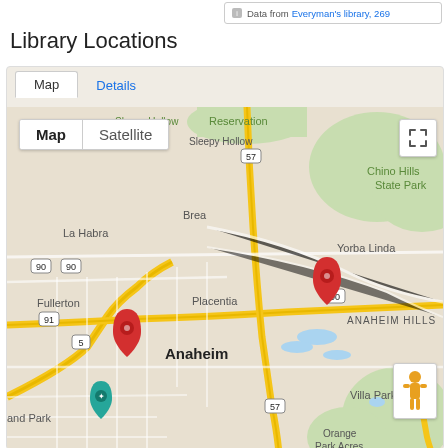Data from Everyman's library, 269
Library Locations
[Figure (map): Google Map showing library locations in the Anaheim/Orange County area of California. Two red map pins are visible: one near Anaheim and one near Anaheim Hills. A teal location pin with a symbol is near the bottom left. The map shows areas including La Habra, Brea, Fullerton, Placentia, Yorba Linda, Anaheim, Anaheim Hills, Villa Park, Orange Park Acres, and Chino Hills State Park. Highways 5, 57, 90, 91, and 241 are visible. Map/Satellite toggle control and fullscreen button are visible. A Pegman icon appears in the bottom right corner.]